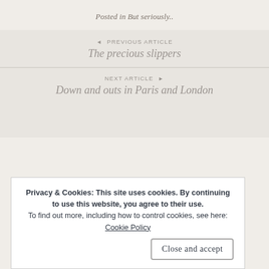Posted in But seriously..
◄ PREVIOUS ARTICLE
The precious slippers
NEXT ARTICLE ►
Down and outs in Paris and London
Privacy & Cookies: This site uses cookies. By continuing to use this website, you agree to their use.
To find out more, including how to control cookies, see here: Cookie Policy
Close and accept